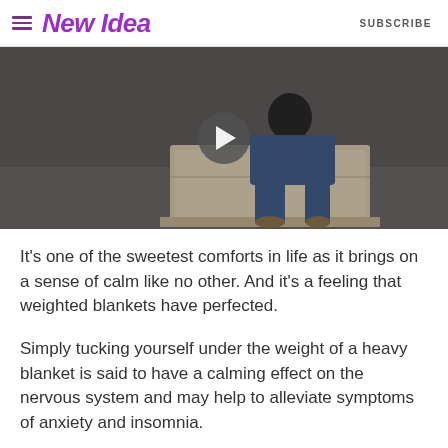New Idea | SUBSCRIBE
[Figure (photo): Video thumbnail showing a person sitting on a wooden chest/trunk in a workshop or storage room. A circular play button overlay is centered on the image.]
It's one of the sweetest comforts in life as it brings on a sense of calm like no other. And it's a feeling that weighted blankets have perfected.
Simply tucking yourself under the weight of a heavy blanket is said to have a calming effect on the nervous system and may help to alleviate symptoms of anxiety and insomnia.
Think of a warm, firm hug but without the need for another